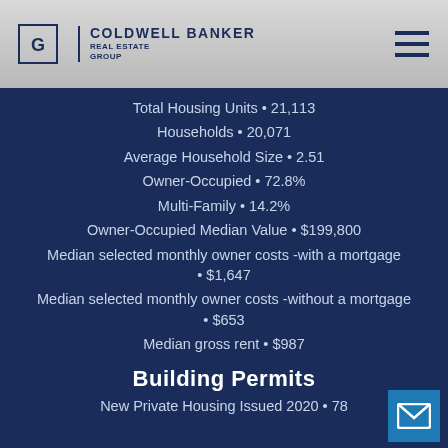Coldwell Banker Real Estate Group
Total Housing Units • 21,113
Households • 20,071
Average Household Size • 2.51
Owner-Occupied • 72.8%
Multi-Family • 14.2%
Owner-Occupied Median Value • $199,800
Median selected monthly owner costs -with a mortgage • $1,647
Median selected monthly owner costs -without a mortgage • $653
Median gross rent • $987
Building Permits
New Private Housing Issued 2020 • 78